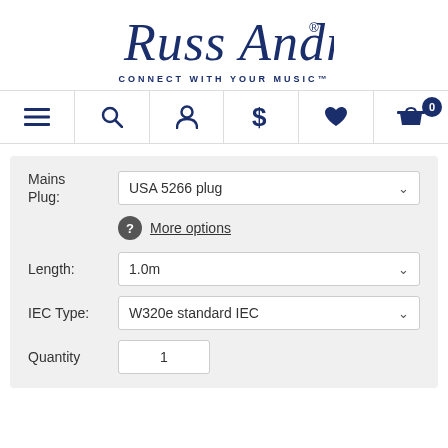[Figure (logo): Russ Andrews cursive signature logo with registered trademark symbol and tagline CONNECT WITH YOUR MUSIC]
[Figure (screenshot): Navigation bar with menu, search, account, dollar, heart, and basket icons; basket has badge showing 0]
Mains Plug:
USA 5266 plug
More options
Length:
1.0m
IEC Type:
W320e standard IEC
Quantity
1